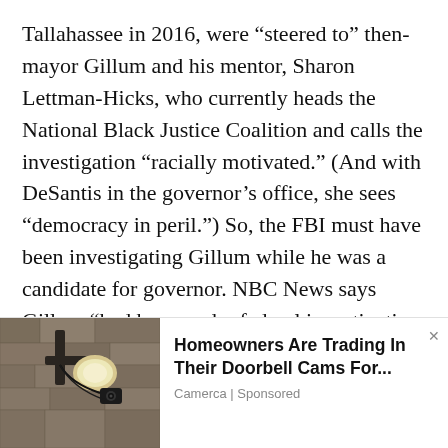Tallahassee in 2016, were “steered to” then-mayor Gillum and his mentor, Sharon Lettman-Hicks, who currently heads the National Black Justice Coalition and calls the investigation “racially motivated.” (And with DeSantis in the governor’s office, she sees “democracy in peril.”) So, the FBI must have been investigating Gillum while he was a candidate for governor. NBC News says Gillum “had been under federal investigation for years.”
[Figure (photo): Photo of an outdoor wall-mounted light fixture with what appears to be a security camera or smart device attached, against a stone or stucco wall background.]
Homeowners Are Trading In Their Doorbell Cams For...
Camerca | Sponsored